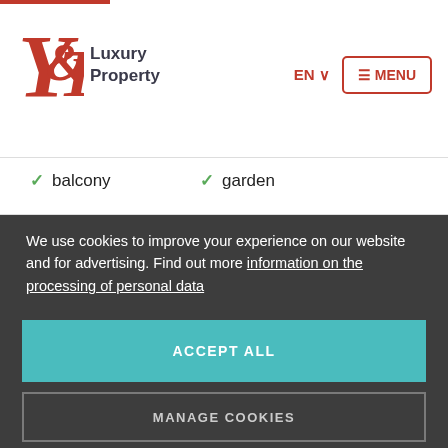Y&T Luxury Property — EN MENU
✓ balcony
✓ garden
We use cookies to improve your experience on our website and for advertising. Find out more information on the processing of personal data
ACCEPT ALL
MANAGE COOKIES